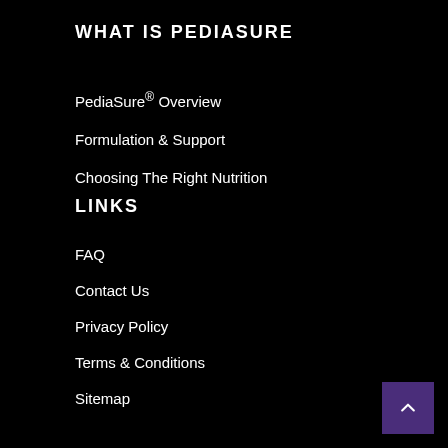WHAT IS PEDIASURE
PediaSure® Overview
Formulation & Support
Choosing The Right Nutrition
LINKS
FAQ
Contact Us
Privacy Policy
Terms & Conditions
Sitemap